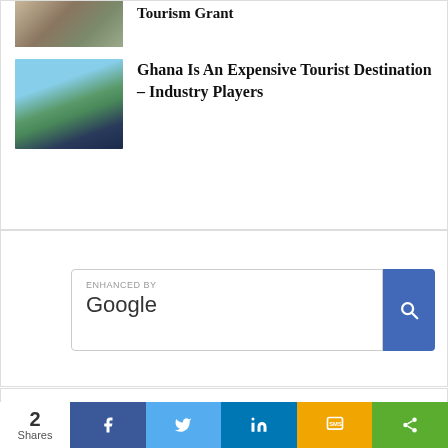[Figure (photo): Partial top image of a white building (castle/fort) with sandy terrain]
Tourism Grant
[Figure (photo): Aerial view of a coastal area in Ghana with beach, river mouth, and green vegetation]
Ghana Is An Expensive Tourist Destination – Industry Players
[Figure (screenshot): Enhanced by Google search box widget with blue search button]
2 Shares
[Figure (infographic): Social share bar with Facebook, Twitter, LinkedIn, SMS, and share buttons]